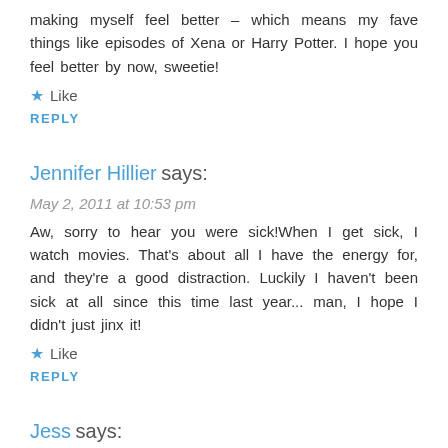making myself feel better – which means my fave things like episodes of Xena or Harry Potter. I hope you feel better by now, sweetie!
★ Like
REPLY
Jennifer Hillier says:
May 2, 2011 at 10:53 pm
Aw, sorry to hear you were sick!When I get sick, I watch movies. That's about all I have the energy for, and they're a good distraction. Luckily I haven't been sick at all since this time last year... man, I hope I didn't just jinx it!
★ Like
REPLY
Jess says:
May 10, 2011 at 6:29 pm